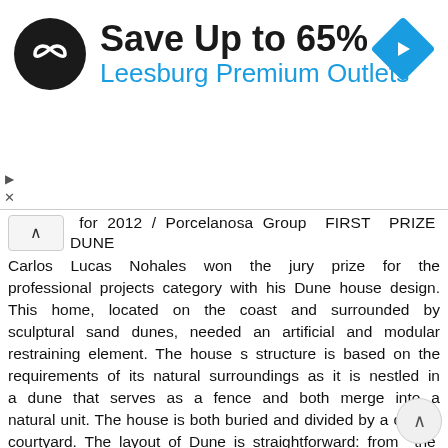[Figure (infographic): Advertisement banner: circular black logo with infinity-like symbol, 'Save Up to 65%' in bold black text, 'Leesburg Premium Outlets' in blue text, blue diamond navigation arrow icon on right. Play/close controls on left edge.]
for 2012 / Porcelanosa Group FIRST PRIZE DUNE Carlos Lucas Nohales won the jury prize for the professional projects category with his Dune house design. This home, located on the coast and surrounded by sculptural sand dunes, needed an artificial and modular restraining element. The house s structure is based on the requirements of its natural surroundings as it is nestled in a dune that serves as a fence and both merge into a natural unit. The house is both buried and divided by a central courtyard. The layout of Dune is straightforward: from the sitting room there is direct access to the beach, and from the kitchen, dining room and bathroom (with elements by L Antic Colonial, Noken and Gamadecor) panoramic views of the sea can be enjoyed. Large windows and the glazed central courtyard take light into the rooms, thus enhancing the delicate finishes. Dune s textural façade, created by ONA from L Antic Colonial, is also in harmony and connects with the feel of the warm